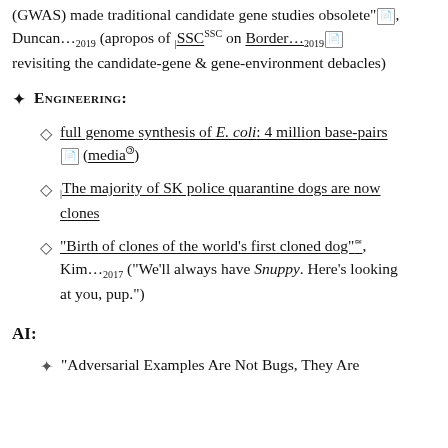(GWAS) made traditional candidate gene studies obsolete", Duncan...2019 (apropos of SSC^SSC on Border...2019 revisiting the candidate-gene & gene-environment debacles)
Engineering:
full genome synthesis of E. coli: 4 million base-pairs (media)
The majority of SK police quarantine dogs are now clones
"Birth of clones of the world's first cloned dog", Kim...2017 ("We'll always have Snuppy. Here's looking at you, pup.")
AI:
"Adversarial Examples Are Not Bugs, They Are